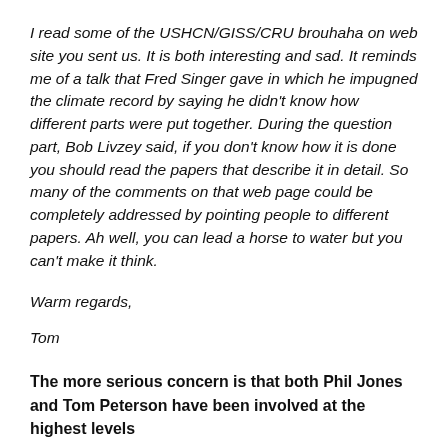I read some of the USHCN/GISS/CRU brouhaha on web site you sent us. It is both interesting and sad. It reminds me of a talk that Fred Singer gave in which he impugned the climate record by saying he didn't know how different parts were put together. During the question part, Bob Livzey said, if you don't know how it is done you should read the papers that describe it in detail. So many of the comments on that web page could be completely addressed by pointing people to different papers. Ah well, you can lead a horse to water but you can't make it think.
Warm regards,
Tom
The more serious concern is that both Phil Jones and Tom Peterson have been involved at the highest levels